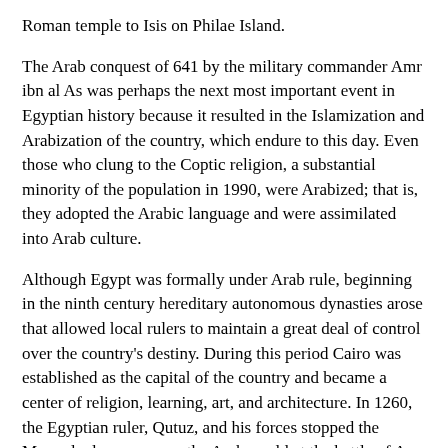Roman temple to Isis on Philae Island.
The Arab conquest of 641 by the military commander Amr ibn al As was perhaps the next most important event in Egyptian history because it resulted in the Islamization and Arabization of the country, which endure to this day. Even those who clung to the Coptic religion, a substantial minority of the population in 1990, were Arabized; that is, they adopted the Arabic language and were assimilated into Arab culture.
Although Egypt was formally under Arab rule, beginning in the ninth century hereditary autonomous dynasties arose that allowed local rulers to maintain a great deal of control over the country's destiny. During this period Cairo was established as the capital of the country and became a center of religion, learning, art, and architecture. In 1260, the Egyptian ruler, Qutuz, and his forces stopped the Mongol advance across the Arab world at the battle of Ayn Jalut in Palestine. Because of this victory, Islamic civilization could continue to flourish when Baghdad, the capital of the Abbasid caliphate, fell to the Mongols. Qutuz's successor, Baybars I, inaugurated the reign of the Mamluks, a dynasty of slave-soldiers of Turkish and Circassian origin that lasted for almost three centuries.
In 1517 Egypt was conquered by Sultan Selim I and absorbed into the Ottoman Empire. Since the Turks were Muslims, the change was...